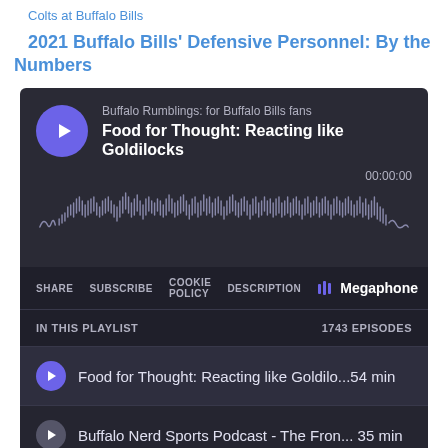Colts at Buffalo Bills
2021 Buffalo Bills' Defensive Personnel: By the Numbers
[Figure (screenshot): Megaphone podcast player embed showing 'Buffalo Rumblings: for Buffalo Bills fans' with episode 'Food for Thought: Reacting like Goldilocks', waveform display at 00:00:00, share/subscribe/cookie policy/description controls, playlist with 1743 episodes including 'Food for Thought: Reacting like Goldilo...54 min', 'Buffalo Nerd Sports Podcast - The Fron...35 min', and 'NABP | Are the Bills under the most pre...48 min']